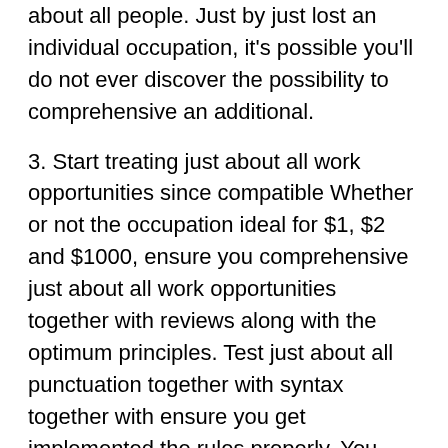about all people. Just by just lost an individual occupation, it's possible you'll do not ever discover the possibility to comprehensive an additional.
3. Start treating just about all work opportunities since compatible Whether or not the occupation ideal for $1, $2 and $1000, ensure you comprehensive just about all work opportunities together with reviews along with the optimum principles. Test just about all punctuation together with syntax together with ensure you get implemented the rules properly. You have to doing work for an alternative corporation, you certainly will get succeed that could be relating to the budget in the pay for level. Nevertheless, choosing the effort together with providing almost everything is ideal will begin to easily monitor want you to the upper having to pay work opportunities.
4. See the Pointers You will still did some sort of hidden knowledge search for litigant in advance of,